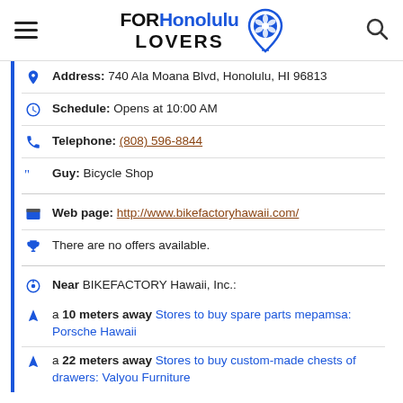FOR Honolulu LOVERS
Address: 740 Ala Moana Blvd, Honolulu, HI 96813
Schedule: Opens at 10:00 AM
Telephone: (808) 596-8844
Guy: Bicycle Shop
Web page: http://www.bikefactoryhawaii.com/
There are no offers available.
Near BIKEFACTORY Hawaii, Inc.:
a 10 meters away Stores to buy spare parts mepamsa: Porsche Hawaii
a 22 meters away Stores to buy custom-made chests of drawers: Valyou Furniture